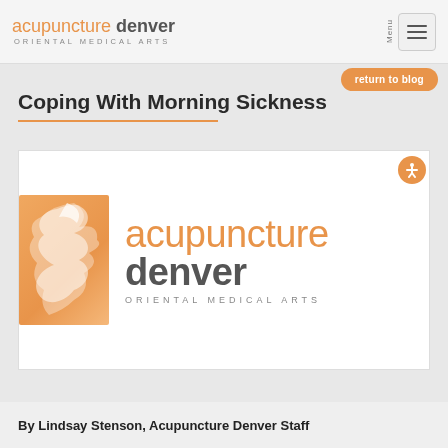acupuncture denver ORIENTAL MEDICAL ARTS
Coping With Morning Sickness
[Figure (logo): Acupuncture Denver Oriental Medical Arts logo: orange abstract figure icon on left, text 'acupuncture denver ORIENTAL MEDICAL ARTS' on right]
By Lindsay Stenson, Acupuncture Denver Staff